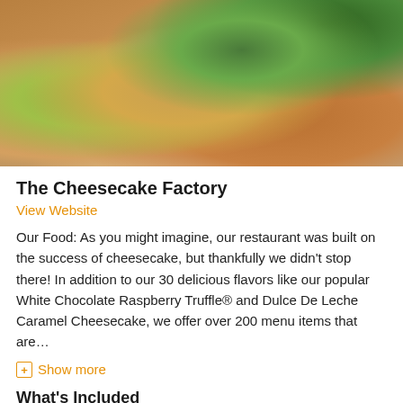[Figure (photo): Close-up photo of food items that appear to be spring rolls or wraps filled with avocado and other colorful fillings, served on a white surface with noodles]
The Cheesecake Factory
View Website
Our Food: As you might imagine, our restaurant was built on the success of cheesecake, but thankfully we didn't stop there! In addition to our 30 delicious flavors like our popular White Chocolate Raspberry Truffle® and Dulce De Leche Caramel Cheesecake, we offer over 200 menu items that are…
⊞ Show more
What's Included